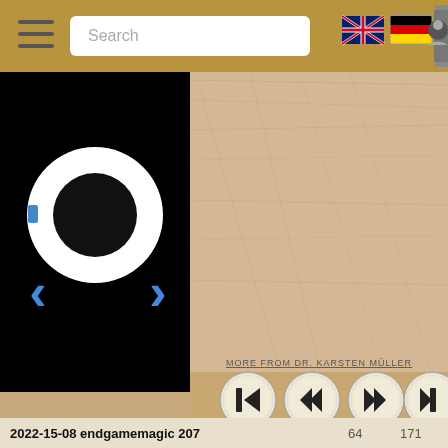[Figure (screenshot): App interface screenshot showing a navigation bar with hamburger menu, search field, UK and German flag icons, and user profile icon. Below is a split view: left panel is black with a white donut/circle control element and blue chevron navigation arrows, right panel shows a wood-grain beige texture. Bottom section has four circular media control buttons (skip back, rewind, fast forward, skip forward) and a link 'MORE FROM DR. KARSTEN MÜLLER'. Bottom bar shows text '2022-15-08 endgamemagic 207' with numbers 64 and 171.]